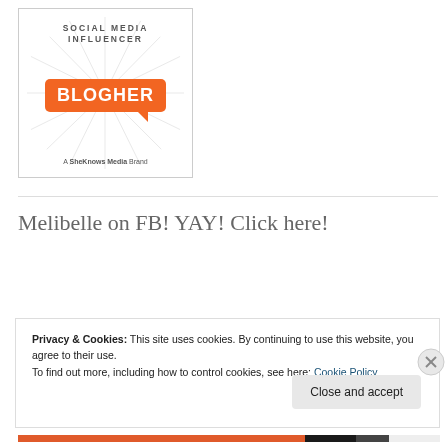[Figure (logo): BlogHer Social Media Influencer badge with orange speech bubble logo and 'A SheKnows Media Brand' text, sunburst rays background]
Melibelle on FB! YAY! Click here!
Privacy & Cookies: This site uses cookies. By continuing to use this website, you agree to their use.
To find out more, including how to control cookies, see here: Cookie Policy
Close and accept